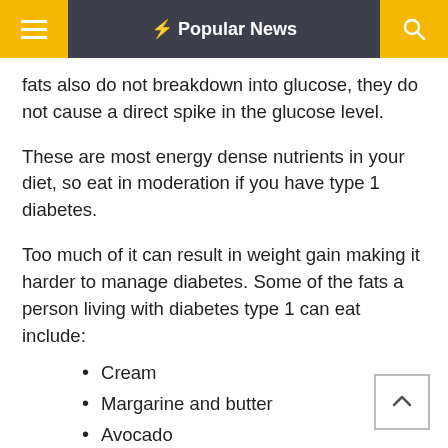⚡ Popular News
fats also do not breakdown into glucose, they do not cause a direct spike in the glucose level.
These are most energy dense nutrients in your diet, so eat in moderation if you have type 1 diabetes.
Too much of it can result in weight gain making it harder to manage diabetes. Some of the fats a person living with diabetes type 1 can eat include:
Cream
Margarine and butter
Avocado
Pastries and fried food
Seeds and nuts